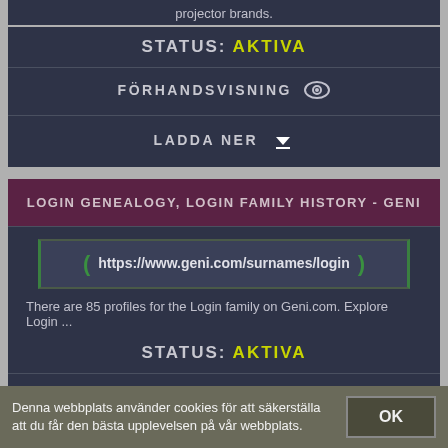projector brands.
STATUS: AKTIVA
FÖRHANDSVISNING
LADDA NER
LOGIN GENEALOGY, LOGIN FAMILY HISTORY - GENI
https://www.geni.com/surnames/login
There are 85 profiles for the Login family on Geni.com. Explore Login ...
STATUS: AKTIVA
FÖRHANDSVISNING
Denna webbplats använder cookies för att säkerställa att du får den bästa upplevelsen på vår webbplats.